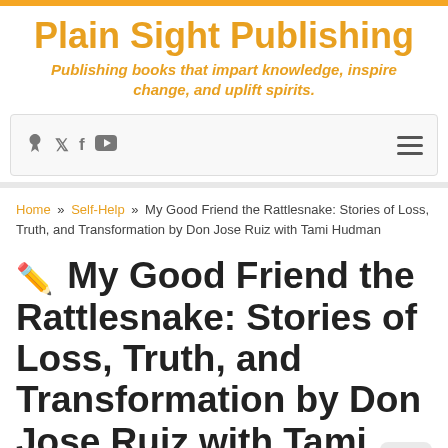Plain Sight Publishing
Publishing books that impart knowledge, inspire change, and uplift spirits.
breadcrumb nav with social icons
Home » Self-Help » My Good Friend the Rattlesnake: Stories of Loss, Truth, and Transformation by Don Jose Ruiz with Tami Hudman
My Good Friend the Rattlesnake: Stories of Loss, Truth, and Transformation by Don Jose Ruiz with Tami Hudman